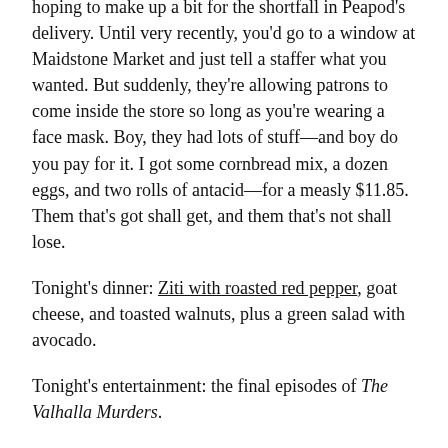hoping to make up a bit for the shortfall in Peapod's delivery. Until very recently, you'd go to a window at Maidstone Market and just tell a staffer what you wanted. But suddenly, they're allowing patrons to come inside the store so long as you're wearing a face mask. Boy, they had lots of stuff—and boy do you pay for it. I got some cornbread mix, a dozen eggs, and two rolls of antacid—for a measly $11.85. Them that's got shall get, and them that's not shall lose.
Tonight's dinner: Ziti with roasted red pepper, goat cheese, and toasted walnuts, plus a green salad with avocado.
Tonight's entertainment: the final episodes of The Valhalla Murders.